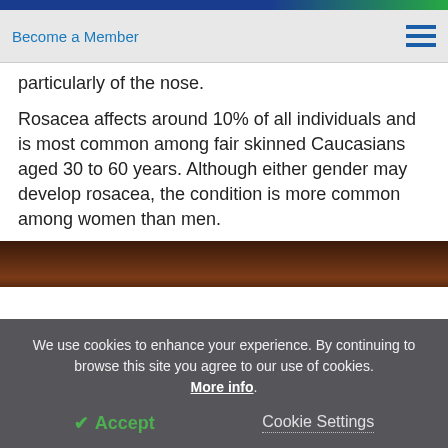Become a Member
particularly of the nose.
Rosacea affects around 10% of all individuals and is most common among fair skinned Caucasians aged 30 to 60 years. Although either gender may develop rosacea, the condition is more common among women than men.
[Figure (photo): Partial photo of a person, showing dark warm-toned background, partially cut off by cookie banner]
We use cookies to enhance your experience. By continuing to browse this site you agree to our use of cookies. More info.
✔ Accept
Cookie Settings